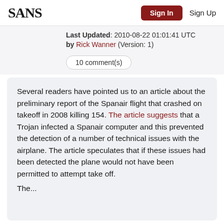SANS | Sign In | Sign Up
Last Updated: 2010-08-22 01:01:41 UTC
by Rick Wanner (Version: 1)
10 comment(s)
Several readers have pointed us to an article about the preliminary report of the Spanair flight that crashed on takeoff in 2008 killing 154. The article suggests that a Trojan infected a Spanair computer and this prevented the detection of a number of technical issues with the airplane. The article speculates that if these issues had been detected the plane would not have been permitted to attempt take off. The...